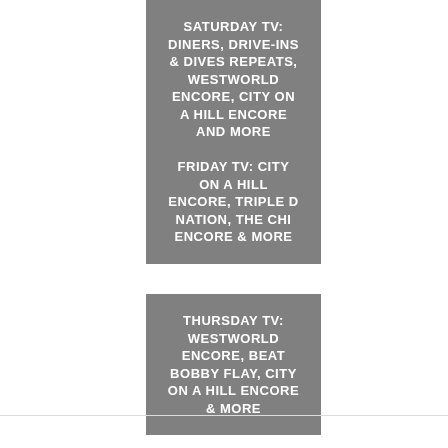[Figure (other): Gray card with white text: SATURDAY TV: DINERS, DRIVE-INS & DIVES REPEATS, WESTWORLD ENCORE, CITY ON A HILL ENCORE AND MORE]
[Figure (other): Gray card with white text: FRIDAY TV: CITY ON A HILL ENCORE, TRIPLE D NATION, THE CHI ENCORE & MORE]
[Figure (other): Gray card with white text: THURSDAY TV: WESTWORLD ENCORE, BEAT BOBBY FLAY, CITY ON A HILL ENCORE & MORE]